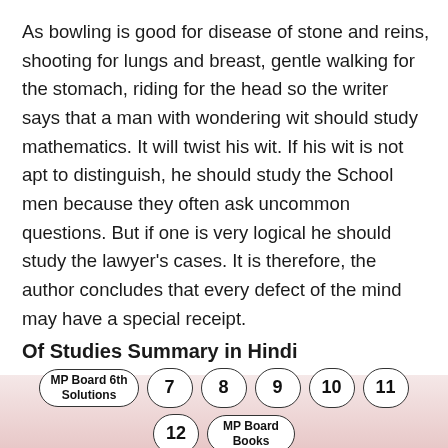As bowling is good for disease of stone and reins, shooting for lungs and breast, gentle walking for the stomach, riding for the head so the writer says that a man with wondering wit should study mathematics. It will twist his wit. If his wit is not apt to distinguish, he should study the School men because they often ask uncommon questions. But if one is very logical he should study the lawyer's cases. It is therefore, the author concludes that every defect of the mind may have a special receipt.
Of Studies Summary in Hindi
[Figure (infographic): Navigation pill buttons on a pink gradient background: MP Board 6th Solutions, 7, 8, 9, 10, 11 on first row; 12, MP Board Books on second row.]